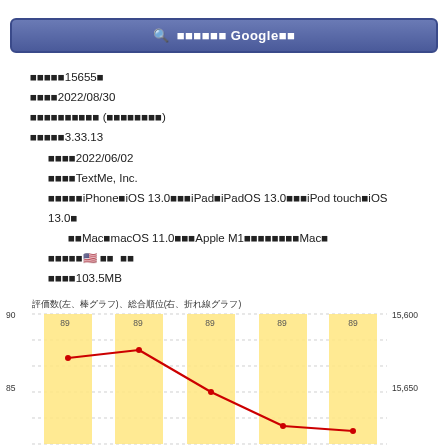[Figure (screenshot): Search bar with magnifying glass icon and Japanese text 'Google検索' on blue gradient background]
評価数：15655件
更新日：2022/08/30
カテゴリ：ソーシャルネットワーキング (メッセージ)
バージョン：3.33.13
　リリース：2022/06/02
　開発者：TextMe, Inc.
　対応：iPhoneはiOS 13.0以降、iPadはiPadOS 13.0以降、iPod touchはiOS 13.0
　　以降、MacはmacOS 11.0以降、Apple M1チップを搭載したMac。
　言語：🇺🇸 英語　他
　サイズ：103.5MB
[Figure (line-chart): 評価数(左、棒グラフ)、総合順位(右、折れ線グラフ)]